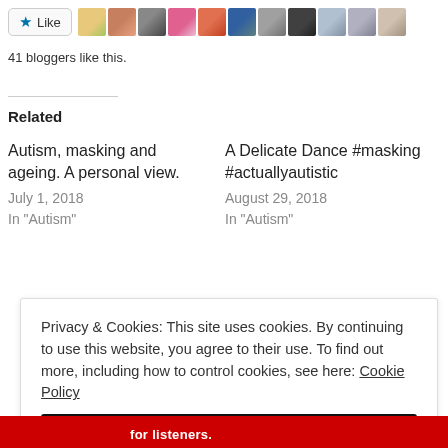[Figure (screenshot): Like button with star icon and avatar strip of blogger profile photos]
41 bloggers like this.
Related
Autism, masking and ageing. A personal view.
July 1, 2018
In "Autism"
A Delicate Dance #masking #actuallyautistic
August 29, 2018
In "Autism"
Privacy & Cookies: This site uses cookies. By continuing to use this website, you agree to their use. To find out more, including how to control cookies, see here: Cookie Policy
Close and accept